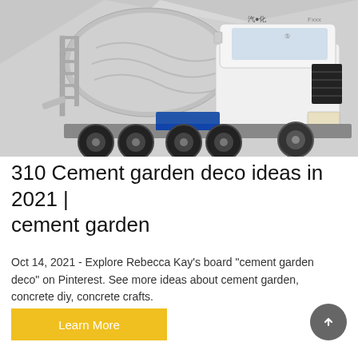[Figure (photo): A white cement mixer truck (heavy construction vehicle with rotating drum) on a light grey/white abstract background. The truck is a large industrial vehicle with blue accents, multiple axles and large wheels, viewed from a slight front-right angle. Text on truck reads in Chinese characters.]
310 Cement garden deco ideas in 2021 | cement garden
Oct 14, 2021 - Explore Rebecca Kay's board "cement garden deco" on Pinterest. See more ideas about cement garden, concrete diy, concrete crafts.
Learn More